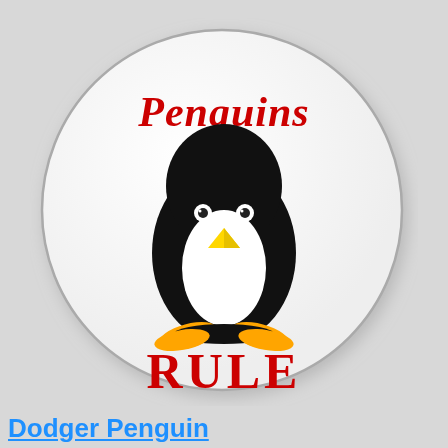[Figure (illustration): A round button/sticker with a white background and gray border shadow. Inside the circle: red text 'Penguins' at top, a cartoon penguin (black body with white belly, yellow beak, orange/yellow feet) in the center, and bold red text 'RULE' at the bottom.]
Dodger Penguin